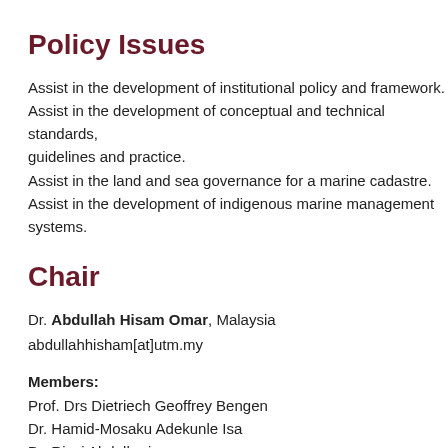Policy Issues
Assist in the development of institutional policy and framework. Assist in the development of conceptual and technical standards, guidelines and practice. Assist in the land and sea governance for a marine cadastre. Assist in the development of indigenous marine management systems.
Chair
Dr. Abdullah Hisam Omar, Malaysia
abdullahhisham[at]utm.my
Members:
Prof. Drs Dietriech Geoffrey Bengen
Dr. Hamid-Mosaku Adekunle Isa
Dr. Rizqi Abdulharis
Dr. Mohd Zaid Abdullah
Mohd Hilmi Abdullah